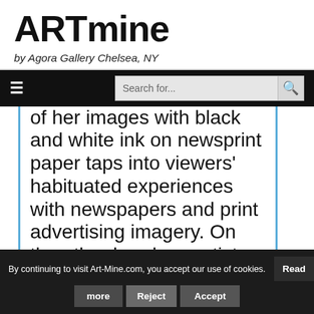ARTmine
by Agora Gallery Chelsea, NY
≡  Search for...
of her images with black and white ink on newsprint paper taps into viewers' habituated experiences with newspapers and print advertising imagery. On the other hand, an artist whose photos are
By continuing to visit Art-Mine.com, you accept our use of cookies.  Read more  Reject  Accept